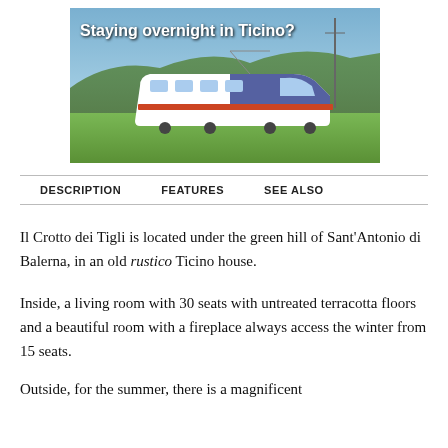[Figure (photo): Advertisement banner showing a modern Swiss train (SBB/Ticino tilting train) traveling through green hills with the text 'Staying overnight in Ticino?' overlaid in white bold text]
DESCRIPTION    FEATURES    SEE ALSO
Il Crotto dei Tigli is located under the green hill of Sant'Antonio di Balerna, in an old rustico Ticino house.
Inside, a living room with 30 seats with untreated terracotta floors and a beautiful room with a fireplace always access the winter from 15 seats.
Outside, for the summer, there is a magnificent